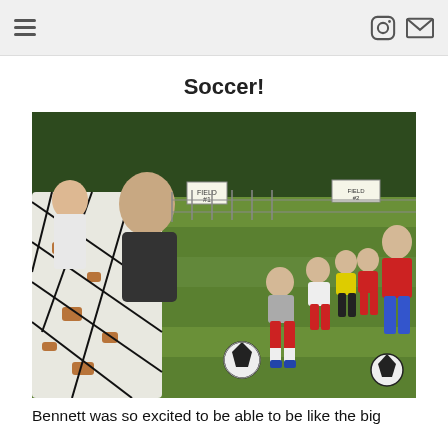[navigation icons: menu, instagram, mail]
Soccer!
[Figure (photo): Children playing soccer on a grass field. A coach/adult stands to the right. A goal net is visible in the foreground on the left. Two soccer balls are on the grass. Kids in various colored shirts and shorts are lined up preparing to kick.]
Bennett was so excited to be able to be like the big